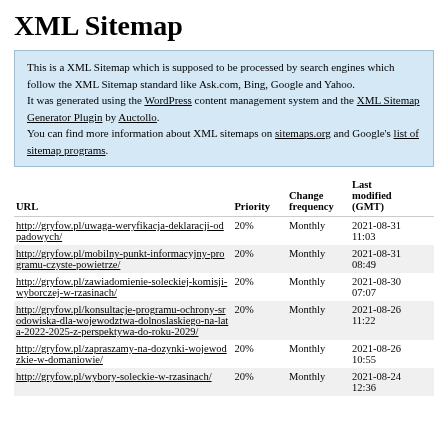XML Sitemap
This is a XML Sitemap which is supposed to be processed by search engines which follow the XML Sitemap standard like Ask.com, Bing, Google and Yahoo.
It was generated using the WordPress content management system and the XML Sitemap Generator Plugin by Auctollo.
You can find more information about XML sitemaps on sitemaps.org and Google's list of sitemap programs.
| URL | Priority | Change frequency | Last modified (GMT) |
| --- | --- | --- | --- |
| http://gryfow.pl/uwaga-weryfikacja-deklaracji-odpadowych/ | 20% | Monthly | 2021-08-31 11:03 |
| http://gryfow.pl/mobilny-punkt-informacyjny-programu-czyste-powietrze/ | 20% | Monthly | 2021-08-31 08:49 |
| http://gryfow.pl/zawiadomienie-soleckiej-komisji-wyborczej-w-rzasinach/ | 20% | Monthly | 2021-08-30 07:07 |
| http://gryfow.pl/konsultacje-programu-ochrony-srodowiska-dla-wojewodztwa-dolnoslaskiego-na-lata-2022-2025-z-perspektywa-do-roku-2029/ | 20% | Monthly | 2021-08-26 11:22 |
| http://gryfow.pl/zapraszamy-na-dozynki-wojewodzkie-w-domaniowie/ | 20% | Monthly | 2021-08-26 10:55 |
| http://gryfow.pl/wybory-soleckie-w-rzasinach/ | 20% | Monthly | 2021-08-24 12:36 |